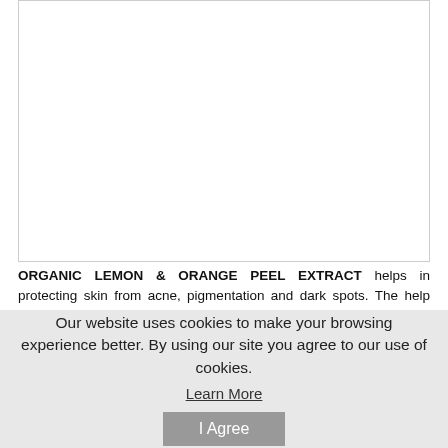[Figure (photo): White empty image box with border, likely showing a product image above text content]
ORGANIC LEMON & ORANGE PEEL EXTRACT helps in protecting skin from acne, pigmentation and dark spots. The help detoxifying and toning the skin to a very great extent.
Our website uses cookies to make your browsing experience better. By using our site you agree to our use of cookies.
Learn More
I Agree